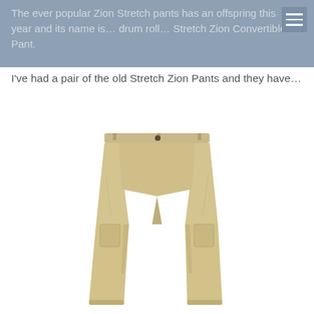The ever popular Zion Stretch pants has an offspring this year and its name is… drum roll… Stretch Zion Convertible Pant.
I've had a pair of the old Stretch Zion Pants and they have…
[Figure (photo): Product photo of khaki/beige convertible stretch pants on a white background, showing the full length of the pants from waist to ankle.]